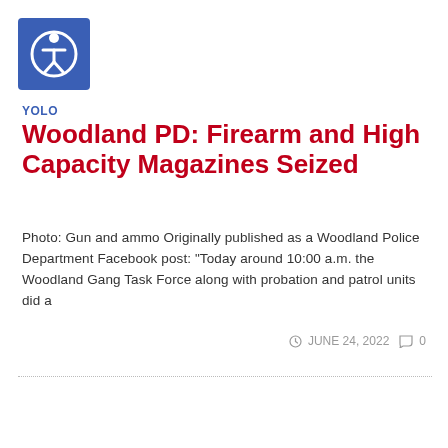[Figure (logo): Blue square accessibility icon with a white person/wheelchair accessibility symbol in the center]
YOLO
Woodland PD: Firearm and High Capacity Magazines Seized
Photo: Gun and ammo Originally published as a Woodland Police Department Facebook post: “Today around 10:00 a.m. the Woodland Gang Task Force along with probation and patrol units did a
JUNE 24, 2022  0